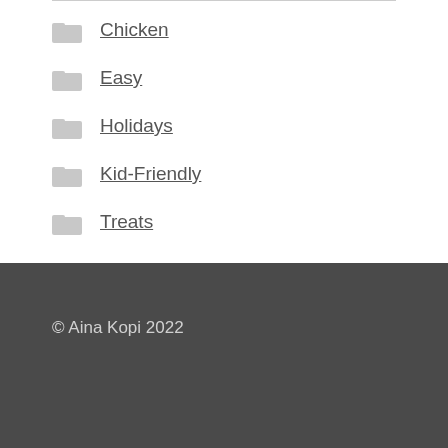Chicken
Easy
Holidays
Kid-Friendly
Treats
© Aina Kopi 2022